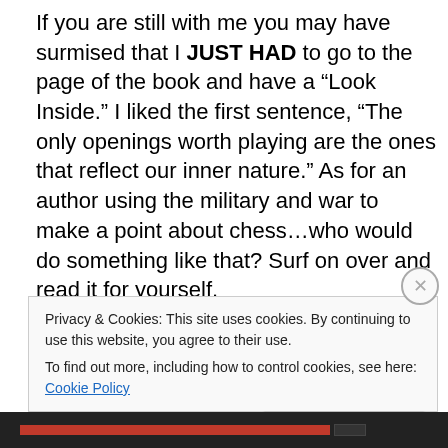If you are still with me you may have surmised that I JUST HAD to go to the page of the book and have a “Look Inside.” I liked the first sentence, “The only openings worth playing are the ones that reflect our inner nature.” As for an author using the military and war to make a point about chess…who would do something like that? Surf on over and read it for yourself.
If you are into chess books there is this interesting article on Chess.com, “Best chess masters biographies?” (http://www.chess.com/forum/view/chess-equipment/best-chess-masters-biographies)
Privacy & Cookies: This site uses cookies. By continuing to use this website, you agree to their use.
To find out more, including how to control cookies, see here: Cookie Policy